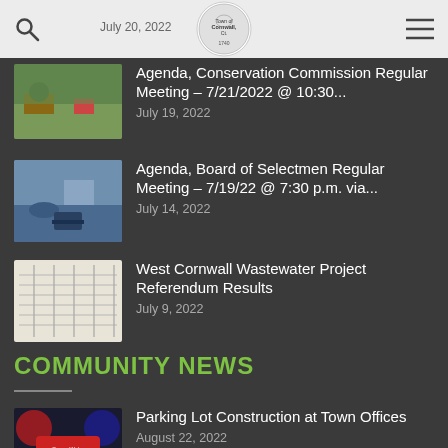July 20, 2022
Agenda, Conservation Commission Regular Meeting – 7/21/2022 @ 10:30…
July 19, 2022
Agenda, Board of Selectmen Regular Meeting – 7/19/22 @ 7:30 p.m. via…
July 14, 2022
West Cornwall Wastewater Project Referendum Results
July 9, 2022
COMMUNITY NEWS
Parking Lot Construction at Town Offices
August 22, 2022